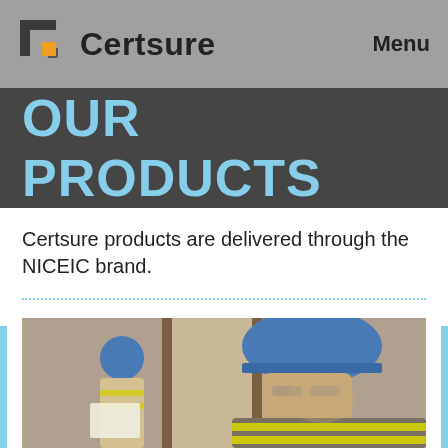Certsure | Menu
OUR PRODUCTS
Certsure products are delivered through the NICEIC brand.
[Figure (photo): Two construction workers wearing yellow high-visibility vests and blue hard hats, one looking down at documents]